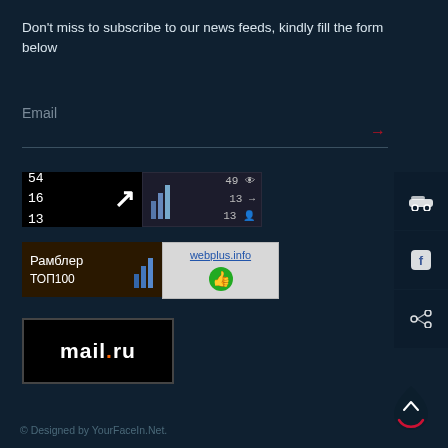Don't miss to subscribe to our news feeds, kindly fill the form below
Email
[Figure (screenshot): LiveInternet statistics badge showing numbers 54, 16, 13 on black background with upward arrow, and a gray panel showing 49, 13, 13 with eye/entry/person icons]
[Figure (screenshot): Rambler TOP100 badge with bar chart icon on dark brown, and webplus.info badge with thumbs up on light gray]
[Figure (screenshot): mail.ru badge with black background and white bold text]
[Figure (screenshot): Right sidebar with car icon, Facebook icon, and share icon on dark navy background]
[Figure (infographic): Scroll-to-top button with dark droplet shape, red arc and upward chevron]
© Designed by YourFaceIn.Net.